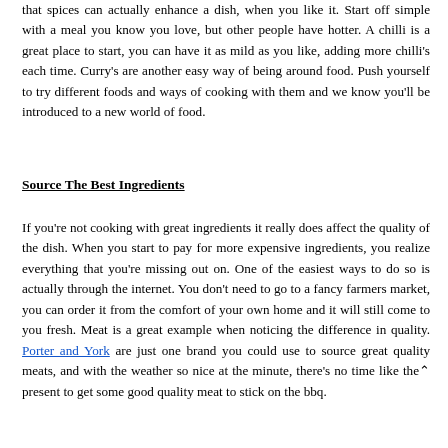that spices can actually enhance a dish, when you like it. Start off simple with a meal you know you love, but other people have hotter. A chilli is a great place to start, you can have it as mild as you like, adding more chilli's each time. Curry's are another easy way of being around food. Push yourself to try different foods and ways of cooking with them and we know you'll be introduced to a new world of food.
Source The Best Ingredients
If you're not cooking with great ingredients it really does affect the quality of the dish. When you start to pay for more expensive ingredients, you realize everything that you're missing out on. One of the easiest ways to do so is actually through the internet. You don't need to go to a fancy farmers market, you can order it from the comfort of your own home and it will still come to you fresh. Meat is a great example when noticing the difference in quality. Porter and York are just one brand you could use to source great quality meats, and with the weather so nice at the minute, there's no time like the present to get some good quality meat to stick on the bbq.